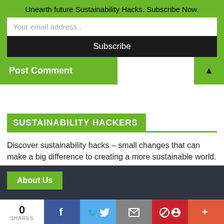Unearth future Sustainability Hacks. Subscribe Now.
Your email address..
Subscribe
Post Comment
SUSTAINABILITY HACKERS
Discover sustainability hacks – small changes that can make a big difference to creating a more sustainable world.
About Us
0 SHARES